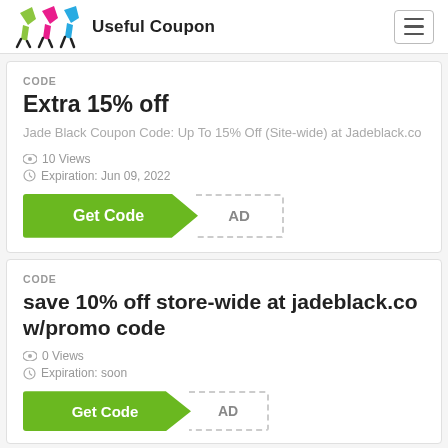Useful Coupon
CODE
Extra 15% off
Jade Black Coupon Code: Up To 15% Off (Site-wide) at Jadeblack.co
10 Views
Expiration: Jun 09, 2022
Get Code   AD
CODE
save 10% off store-wide at jadeblack.co w/promo code
0 Views
Expiration: soon
Get Code